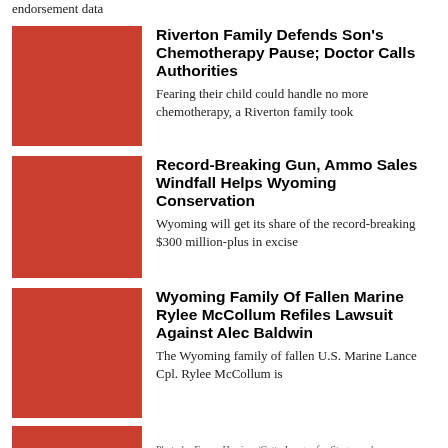endorsement data
[Figure (photo): Red/terracotta colored square placeholder image for Riverton Family article]
Riverton Family Defends Son's Chemotherapy Pause; Doctor Calls Authorities
Fearing their child could handle no more chemotherapy, a Riverton family took
[Figure (photo): Red/terracotta colored square placeholder image for Record-Breaking Gun article]
Record-Breaking Gun, Ammo Sales Windfall Helps Wyoming Conservation
Wyoming will get its share of the record-breaking $300 million-plus in excise
[Figure (photo): Red/terracotta colored square placeholder image for Wyoming Family of Fallen Marine article]
Wyoming Family Of Fallen Marine Rylee McCollum Refiles Lawsuit Against Alec Baldwin
The Wyoming family of fallen U.S. Marine Lance Cpl. Rylee McCollum is
[Figure (photo): Red/terracotta colored partial square placeholder image at bottom]
Photo by Frazer Harrison/Getty Images for Stagecoach